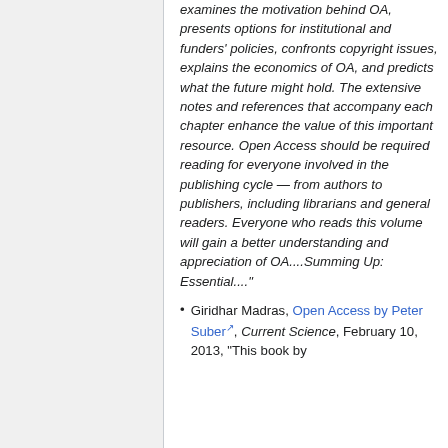examines the motivation behind OA, presents options for institutional and funders' policies, confronts copyright issues, explains the economics of OA, and predicts what the future might hold. The extensive notes and references that accompany each chapter enhance the value of this important resource. Open Access should be required reading for everyone involved in the publishing cycle &#151; from authors to publishers, including librarians and general readers. Everyone who reads this volume will gain a better understanding and appreciation of OA....Summing Up: Essential...."
Giridhar Madras, Open Access by Peter Suber, Current Science, February 10, 2013, "This book by